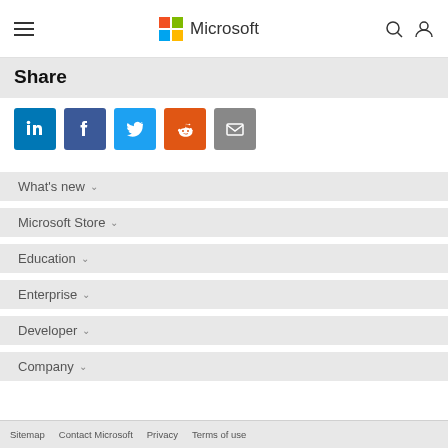Microsoft
Share
[Figure (logo): Social share buttons: LinkedIn (blue), Facebook (dark blue), Twitter (light blue), Reddit (orange), Email (gray)]
What's new
Microsoft Store
Education
Enterprise
Developer
Company
Sitemap   Contact Microsoft   Privacy   Terms of use